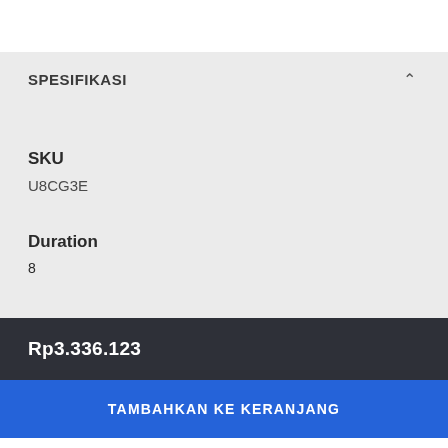SPESIFIKASI
SKU
U8CG3E
Duration
Rp3.336.123
TAMBAHKAN KE KERANJANG